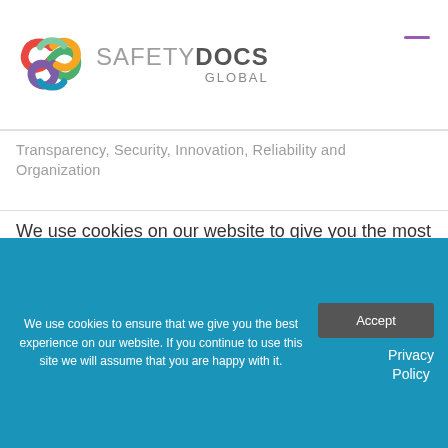[Figure (logo): SafetyDocs Global logo with interlinked chain/loop icon in multicolor (red, orange, green, teal, purple) and text SAFETY DOCS GLOBAL]
Transparency, Security, Innovation, Reliability and Organization
We use cookies on our website to give you the most relevant experience by remembering your preferences and repeat visits. By clicking "Accept", you consent to
We use cookies to ensure that we give you the best experience on our website. If you continue to use this site we will assume that you are happy with it.